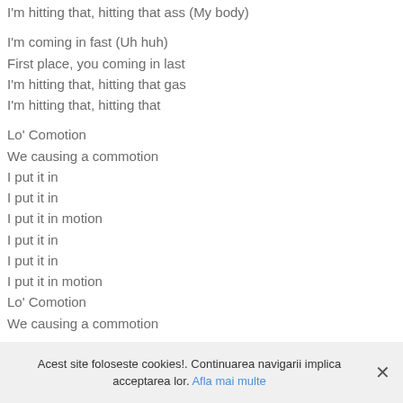I'm hitting that, hitting that ass (My body)
I'm coming in fast (Uh huh)
First place, you coming in last
I'm hitting that, hitting that gas
I'm hitting that, hitting that
Lo' Comotion
We causing a commotion
I put it in
I put it in
I put it in motion
I put it in
I put it in
I put it in motion
Lo' Comotion
We causing a commotion
Acest site foloseste cookies!. Continuarea navigarii implica acceptarea lor. Afla mai multe